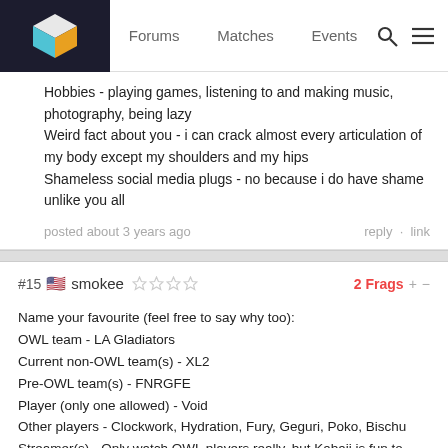Forums | Matches | Events
Hobbies - playing games, listening to and making music, photography, being lazy
Weird fact about you - i can crack almost every articulation of my body except my shoulders and my hips
Shameless social media plugs - no because i do have shame unlike you all
posted about 3 years ago    reply · link
#15 smokee   2 Frags + -
Name your favourite (feel free to say why too):
OWL team - LA Gladiators
Current non-OWL team(s) - XL2
Pre-OWL team(s) - FNRGFE
Player (only one allowed) - Void
Other players - Clockwork, Hydration, Fury, Geguri, Poko, Bischu
Streamer(s) - Only watch OWL players really, but Kabaji is fun to watch
Caster combo - UberX
Analyst duo - Sideshow/Bren
Main desk presenter - Puckett
Match - NYXL vs Houston Stage 3
Tournament - OWL